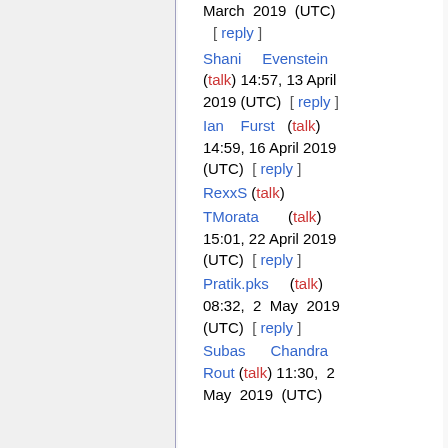March 2019 (UTC) [ reply ]
Shani Evenstein (talk) 14:57, 13 April 2019 (UTC) [ reply ]
Ian Furst (talk) 14:59, 16 April 2019 (UTC) [ reply ]
RexxS (talk)
TMorata (talk) 15:01, 22 April 2019 (UTC) [ reply ]
Pratik.pks (talk) 08:32, 2 May 2019 (UTC) [ reply ]
Subas Chandra Rout (talk) 11:30, 2 May 2019 (UTC)